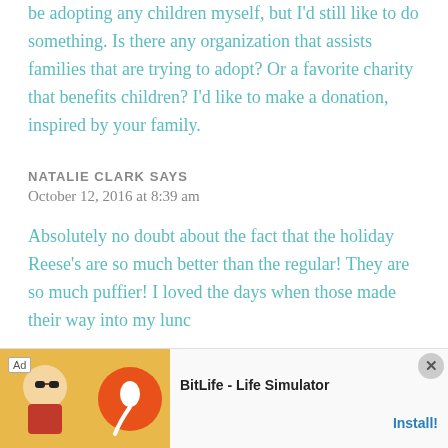be adopting any children myself, but I'd still like to do something. Is there any organization that assists families that are trying to adopt? Or a favorite charity that benefits children? I'd like to make a donation, inspired by your family.
NATALIE CLARK SAYS
October 12, 2016 at 8:39 am
Absolutely no doubt about the fact that the holiday Reese's are so much better than the regular! They are so much puffier! I loved the days when those made their way into my lunc...
[Figure (other): Advertisement banner for BitLife - Life Simulator app with Ad label, cartoon character image, sperm icon on orange circle, brand name, and Install! button]